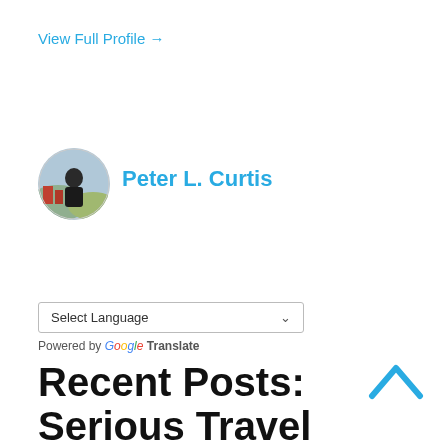View Full Profile →
[Figure (photo): Circular avatar photo of Peter L. Curtis showing a person outdoors with a colorful background]
Peter L. Curtis
Select Language ∨
Powered by Google Translate
[Figure (other): Upward chevron/caret icon in light blue color]
Recent Posts: Serious Travel